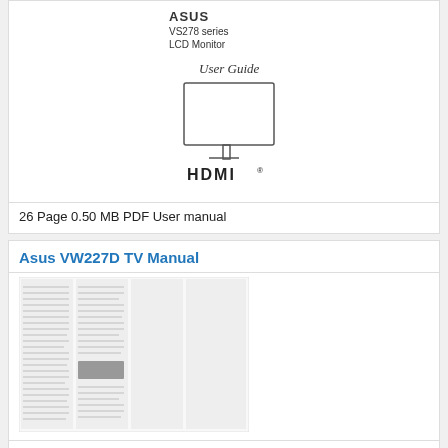[Figure (illustration): ASUS VS278 series LCD Monitor User Guide cover with monitor illustration and HDMI logo]
26 Page 0.50 MB PDF User manual
Asus VW227D TV Manual
[Figure (illustration): Thumbnail preview of Asus VW227D TV Manual document pages]
2 Page 5.43 MB PDF User manual
Asus VX279Q-W TV Manual